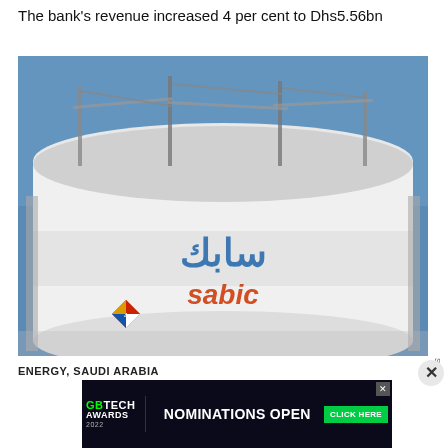The bank's revenue increased 4 per cent to Dhs5.56bn
[Figure (photo): A large white industrial storage tank with Arabic text and 'sabic' logo in blue and red, with scaffolding and industrial equipment visible against a blue sky. The tank appears to be at a petrochemical/energy facility.]
ENERGY, SAUDI ARABIA
[Figure (other): Advertisement banner for GB Tech Awards 2022 with text 'NOMINATIONS OPEN' and 'CLICK HERE' call to action on dark background.]